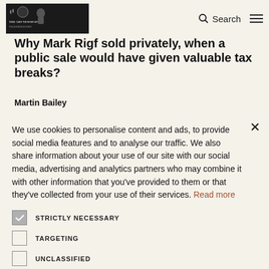The Art Newspaper — Search / Menu
Why Mark Rigf sold privately, when a public sale would have given valuable tax breaks?
Martin Bailey
We use cookies to personalise content and ads, to provide social media features and to analyse our traffic. We also share information about your use of our site with our social media, advertising and analytics partners who may combine it with other information that you've provided to them or that they've collected from your use of their services. Read more
STRICTLY NECESSARY
TARGETING
UNCLASSIFIED
ACCEPT ALL
DECLINE ALL
SHOW DETAILS